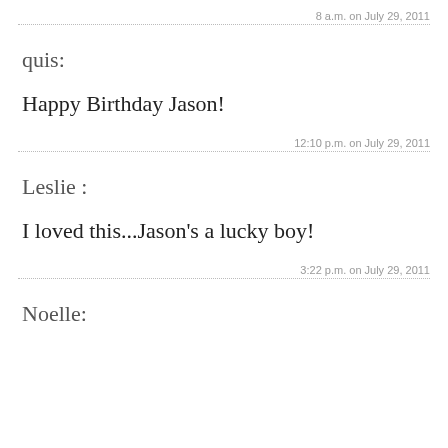8 a.m. on July 29, 2011
quis:
Happy Birthday Jason!
12:10 p.m. on July 29, 2011
Leslie :
I loved this...Jason's a lucky boy!
3:22 p.m. on July 29, 2011
Noelle: